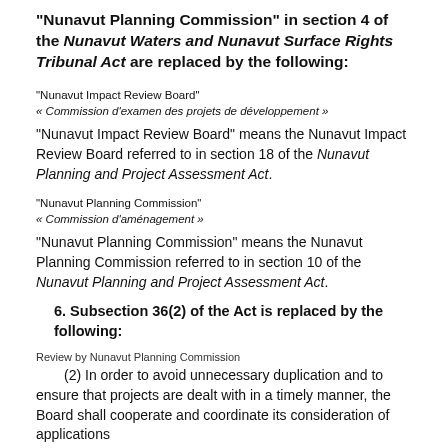“Nunavut Planning Commission” in section 4 of the Nunavut Waters and Nunavut Surface Rights Tribunal Act are replaced by the following:
“Nunavut Impact Review Board”
« Commission d’examen des projets de développement »
“Nunavut Impact Review Board” means the Nunavut Impact Review Board referred to in section 18 of the Nunavut Planning and Project Assessment Act.
“Nunavut Planning Commission”
« Commission d’aménagement »
“Nunavut Planning Commission” means the Nunavut Planning Commission referred to in section 10 of the Nunavut Planning and Project Assessment Act.
6. Subsection 36(2) of the Act is replaced by the following:
Review by Nunavut Planning Commission
(2) In order to avoid unnecessary duplication and to ensure that projects are dealt with in a timely manner, the Board shall cooperate and coordinate its consideration of applications